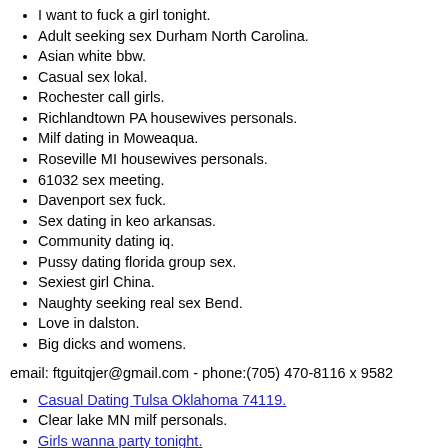I want to fuck a girl tonight.
Adult seeking sex Durham North Carolina.
Asian white bbw.
Casual sex lokal.
Rochester call girls.
Richlandtown PA housewives personals.
Milf dating in Moweaqua.
Roseville MI housewives personals.
61032 sex meeting.
Davenport sex fuck.
Sex dating in keo arkansas.
Community dating iq.
Pussy dating florida group sex.
Sexiest girl China.
Naughty seeking real sex Bend.
Love in dalston.
Big dicks and womens.
email: ftguitqjer@gmail.com - phone:(705) 470-8116 x 9582
Casual Dating Tulsa Oklahoma 74119.
Clear lake MN milf personals.
Girls wanna party tonight.
Swingers sex clubs Spartanburg.